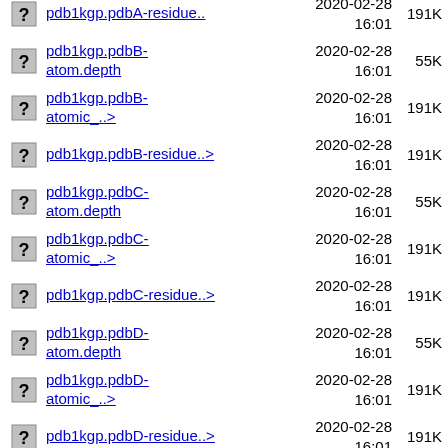pdb1kgp.pdbA-residue..> 2020-02-28 16:01 191K
pdb1kgp.pdbB-atom.depth 2020-02-28 16:01 55K
pdb1kgp.pdbB-atomic_..> 2020-02-28 16:01 191K
pdb1kgp.pdbB-residue..> 2020-02-28 16:01 191K
pdb1kgp.pdbC-atom.depth 2020-02-28 16:01 55K
pdb1kgp.pdbC-atomic_..> 2020-02-28 16:01 191K
pdb1kgp.pdbC-residue..> 2020-02-28 16:01 191K
pdb1kgp.pdbD-atom.depth 2020-02-28 16:01 55K
pdb1kgp.pdbD-atomic_..> 2020-02-28 16:01 191K
pdb1kgp.pdbD-residue..> 2020-02-28 16:01 191K
pdb1kgq-atom.depth 2020-02-28 16:01 46K
pdb1kgq-atomic_depth..> 2020-02-28 16:01 164K